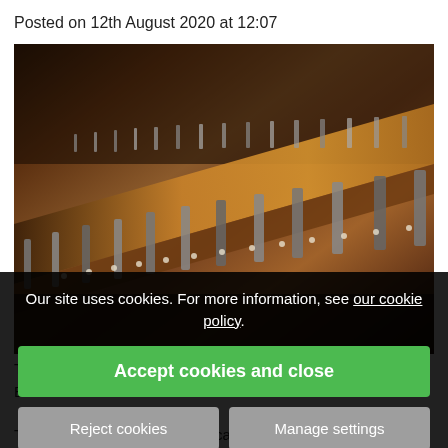Posted on 12th August 2020 at 12:07
[Figure (photo): Close-up photograph of piano jacks/strings mechanism, showing rows of metallic jacks along a wooden rail, viewed in perspective from low angle. Warm brown tones with shallow depth of field.]
Our site uses cookies. For more information, see our cookie policy.
Accept cookies and close
Reject cookies
Manage settings
The first ... le late 1600s o... rument maker Bartolomeo Cristofori.
These early instruments were called clavicembalo col...